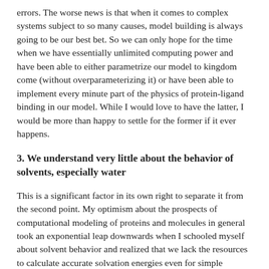errors. The worse news is that when it comes to complex systems subject to so many causes, model building is always going to be our best bet. So we can only hope for the time when we have essentially unlimited computing power and have been able to either parametrize our model to kingdom come (without overparameterizing it) or have been able to implement every minute part of the physics of protein-ligand binding in our model. While I would love to have the latter, I would be more than happy to settle for the former if it ever happens.
3. We understand very little about the behavior of solvents, especially water
This is a significant factor in its own right to separate it from the second point. My optimism about the prospects of computational modeling of proteins and molecules in general took an exponential leap downwards when I schooled myself about solvent behavior and realized that we lack the resources to calculate accurate solvation energies even for simple organic molecules, let alone proteins. It's one of life's enduring mysteries; that which is most familiar succumbs the least to our efforts in understanding it- in this case that elusive entity would be water.